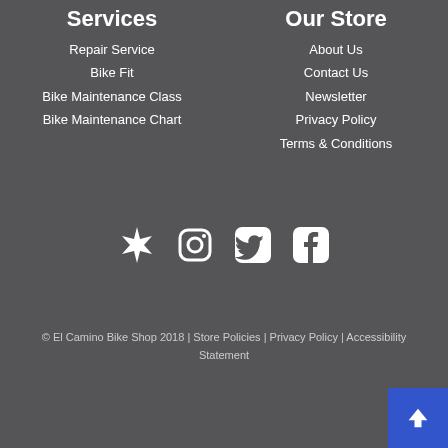Services
Repair Service
Bike Fit
Bike Maintenance Class
Bike Maintenance Chart
Our Store
About Us
Contact Us
Newsletter
Privacy Policy
Terms & Conditions
[Figure (illustration): Social media icons: Yelp, Instagram, Twitter, Facebook]
© El Camino Bike Shop 2018 | Store Policies | Privacy Policy | Accessibility Statement